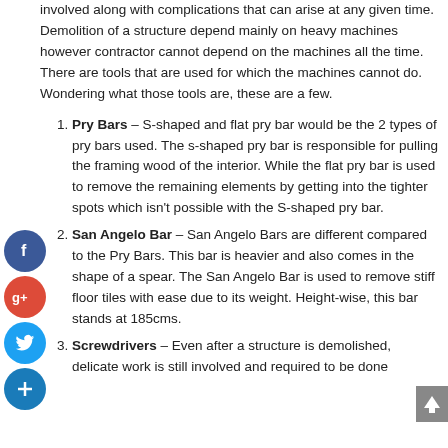involved along with complications that can arise at any given time. Demolition of a structure depend mainly on heavy machines however contractor cannot depend on the machines all the time. There are tools that are used for which the machines cannot do. Wondering what those tools are, these are a few.
Pry Bars – S-shaped and flat pry bar would be the 2 types of pry bars used. The s-shaped pry bar is responsible for pulling the framing wood of the interior. While the flat pry bar is used to remove the remaining elements by getting into the tighter spots which isn't possible with the S-shaped pry bar.
San Angelo Bar – San Angelo Bars are different compared to the Pry Bars. This bar is heavier and also comes in the shape of a spear. The San Angelo Bar is used to remove stiff floor tiles with ease due to its weight. Height-wise, this bar stands at 185cms.
Screwdrivers – Even after a structure is demolished, delicate work is still involved and required to be done